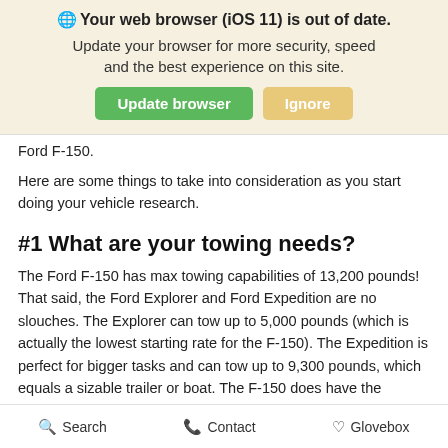🌐 Your web browser (iOS 11) is out of date. Update your browser for more security, speed and the best experience on this site. [Update browser] [Ignore]
Ford F-150.
Here are some things to take into consideration as you start doing your vehicle research.
#1 What are your towing needs?
The Ford F-150 has max towing capabilities of 13,200 pounds! That said, the Ford Explorer and Ford Expedition are no slouches. The Explorer can tow up to 5,000 pounds (which is actually the lowest starting rate for the F-150). The Expedition is perfect for bigger tasks and can tow up to 9,300 pounds, which equals a sizable trailer or boat. The F-150 does have the highest ratings but depending on your lifestyle an Expedition, or even an Explorer if you
Search   Contact   Glovebox